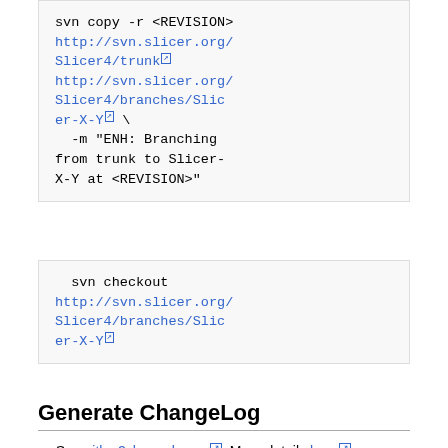svn copy -r <REVISION> http://svn.slicer.org/Slicer4/trunk http://svn.slicer.org/Slicer4/branches/Slicer-X-Y \ -m "ENH: Branching from trunk to Slicer-X-Y at <REVISION>"
svn checkout http://svn.slicer.org/Slicer4/branches/Slicer-X-Y
Generate ChangeLog
See gitlog2changelog.py. More details here.